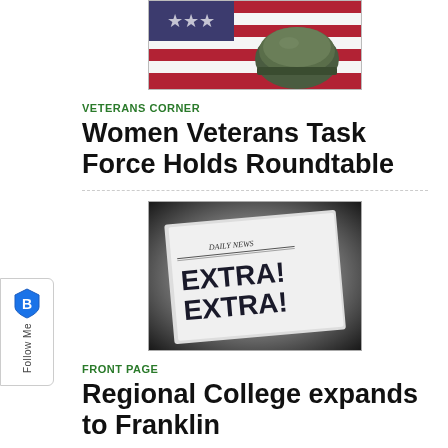[Figure (photo): Photo of a military helmet in front of an American flag]
VETERANS CORNER
Women Veterans Task Force Holds Roundtable
[Figure (photo): Newspaper with headline EXTRA! EXTRA! DAILY NEWS]
FRONT PAGE
Regional College expands to Franklin
[Figure (other): Follow Me sidebar button with shield icon]